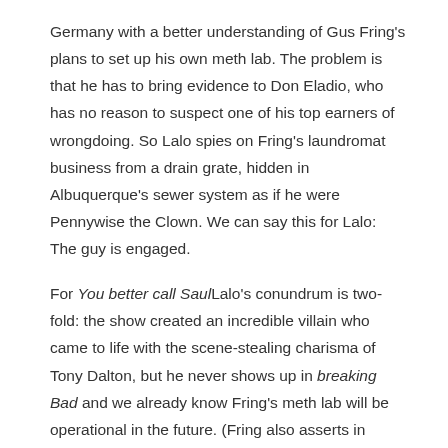Germany with a better understanding of Gus Fring's plans to set up his own meth lab. The problem is that he has to bring evidence to Don Eladio, who has no reason to suspect one of his top earners of wrongdoing. So Lalo spies on Fring's laundromat business from a drain grate, hidden in Albuquerque's sewer system as if he were Pennywise the Clown. We can say this for Lalo: The guy is engaged.
For You better call Saul Lalo's conundrum is two-fold: the show created an incredible villain who came to life with the scene-stealing charisma of Tony Dalton, but he never shows up in breaking Bad and we already know Fring's meth lab will be operational in the future. (Fring also asserts in breaking Bad that all the Salamancas are dead, which doesn't exactly help Lalo's chances.) All signs point to Lalo meeting his fate – not only is he vastly outnumbered by Fring's men, but the Chicken Man has kept a weapon hidden in the still incomplete laboratory in case they have their inevitable confrontation underground.